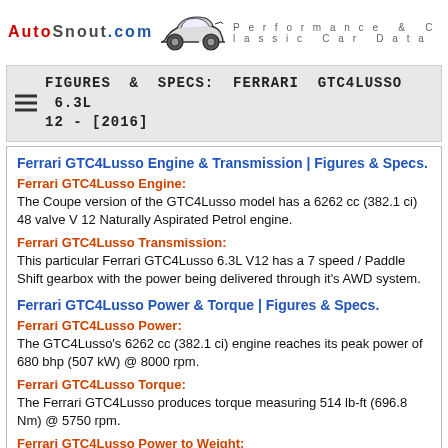AutoSnout.com   Performance & Classic Car Data
FIGURES & SPECS: FERRARI GTC4LUSSO 6.3L 12 - [2016]
Ferrari GTC4Lusso Engine & Transmission | Figures & Specs.
Ferrari GTC4Lusso Engine:
The Coupe version of the GTC4Lusso model has a 6262 cc (382.1 ci) 48 valve V 12 Naturally Aspirated Petrol engine.
Ferrari GTC4Lusso Transmission:
This particular Ferrari GTC4Lusso 6.3L V12 has a 7 speed / Paddle Shift gearbox with the power being delivered through it's AWD system.
Ferrari GTC4Lusso Power & Torque | Figures & Specs.
Ferrari GTC4Lusso Power:
The GTC4Lusso's 6262 cc (382.1 ci) engine reaches its peak power of 680 bhp (507 kW) @ 8000 rpm.
Ferrari GTC4Lusso Torque:
The Ferrari GTC4Lusso produces torque measuring 514 lb-ft (696.8 Nm) @ 5750 rpm.
Ferrari GTC4Lusso Power to Weight:
The GTC4Lusso weighs around 1790 kg (3946 lb). Power to weight can